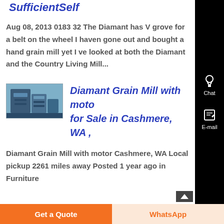SufficientSelf
Aug 08, 2013 0183 32 The Diamant has V grove for a belt on the wheel I haven gone out and bought a hand grain mill yet I ve looked at both the Diamant and the Country Living Mill...
[Figure (photo): Thumbnail photo of a Diamant Grain Mill machine]
Diamant Grain Mill with moto for Sale in Cashmere, WA ,
Diamant Grain Mill with motor Cashmere, WA Local pickup 2261 miles away Posted 1 year ago in Furniture